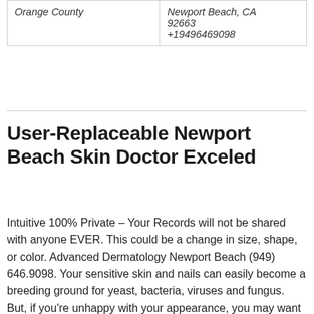| Orange County | Newport Beach, CA
92663
+19496469098 |
User-Replaceable Newport Beach Skin Doctor Exceled
Intuitive 100% Private – Your Records will not be shared with anyone EVER. This could be a change in size, shape, or color. Advanced Dermatology Newport Beach (949) 646.9098. Your sensitive skin and nails can easily become a breeding ground for yeast, bacteria, viruses and fungus. But, if you're unhappy with your appearance, you may want to see a